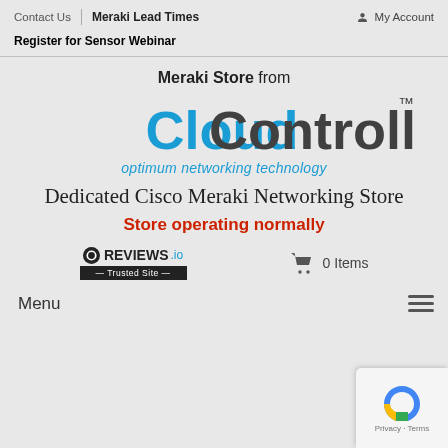Contact Us | Meraki Lead Times | My Account
Register for Sensor Webinar
Meraki Store from CloudControlled™ optimum networking technology
Dedicated Cisco Meraki Networking Store
Store operating normally
[Figure (logo): REVIEWS.io Trusted Site badge logo]
0 Items
Menu